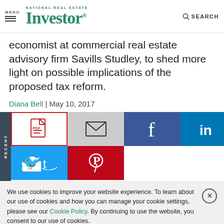MENU | National Real Estate Investor | SEARCH
economist at commercial real estate advisory firm Savills Studley, to shed more light on possible implications of the proposed tax reform.
Diana Bell | May 10, 2017
[Figure (screenshot): Social sharing buttons: PDF (outlined in red), Email, Facebook, LinkedIn, Twitter, Pinterest, with a RECENT vertical tab on the left]
We use cookies to improve your website experience. To learn about our use of cookies and how you can manage your cookie settings, please see our Cookie Policy. By continuing to use the website, you consent to our use of cookies.